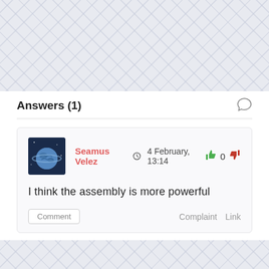Answers (1)
Seamus Velez  4 February, 13:14  0
I think the assembly is more powerful
Comment  Complaint  Link